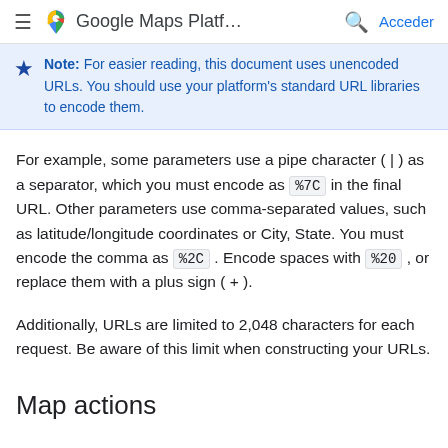Google Maps Platf… Acceder
Note: For easier reading, this document uses unencoded URLs. You should use your platform's standard URL libraries to encode them.
For example, some parameters use a pipe character ( | ) as a separator, which you must encode as %7C in the final URL. Other parameters use comma-separated values, such as latitude/longitude coordinates or City, State. You must encode the comma as %2C . Encode spaces with %20 , or replace them with a plus sign ( + ).
Additionally, URLs are limited to 2,048 characters for each request. Be aware of this limit when constructing your URLs.
Map actions